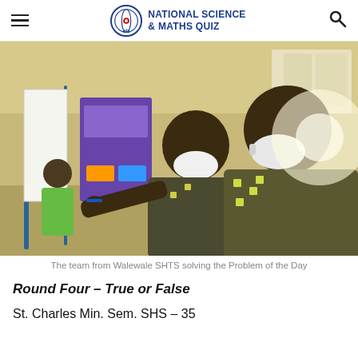NATIONAL SCIENCE & MATHS QUIZ
[Figure (photo): Two students wearing face masks working at a whiteboard/flipchart during a science and maths quiz competition, with other students visible in the background. A '2020' logo watermark appears at the bottom right.]
The team from Walewale SHTS solving the Problem of the Day
Round Four – True or False
St. Charles Min. Sem. SHS – 35